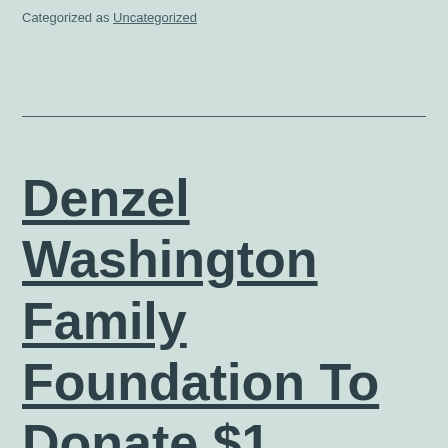Categorized as Uncategorized
Denzel Washington Family Foundation To Donate $1 Million To Wiley College Debate Team